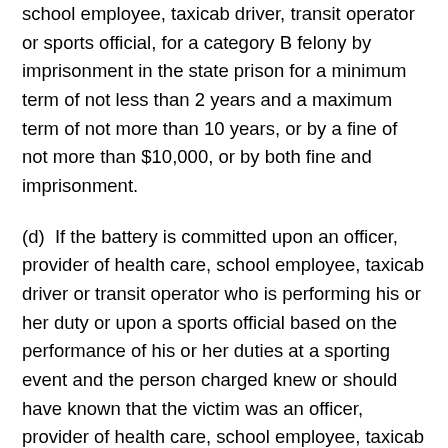school employee, taxicab driver, transit operator or sports official, for a category B felony by imprisonment in the state prison for a minimum term of not less than 2 years and a maximum term of not more than 10 years, or by a fine of not more than $10,000, or by both fine and imprisonment.
(d)  If the battery is committed upon an officer, provider of health care, school employee, taxicab driver or transit operator who is performing his or her duty or upon a sports official based on the performance of his or her duties at a sporting event and the person charged knew or should have known that the victim was an officer, provider of health care, school employee, taxicab driver, transit operator or sports official, for a gross misdemeanor, except under circumstances where a greater penalty is provided in this section.